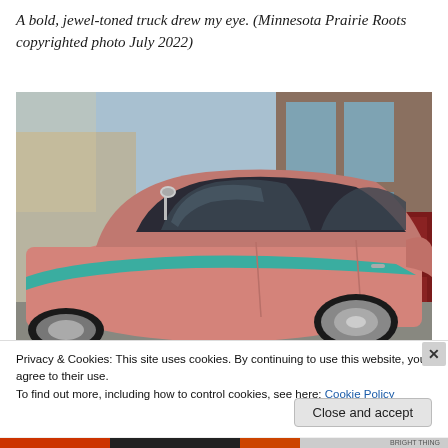A bold, jewel-toned truck drew my eye. (Minnesota Prairie Roots copyrighted photo July 2022)
[Figure (photo): Side view of a pink vintage classic car (possibly 1950s) with a teal/turquoise accent stripe along the lower body, parked in front of a building with large glass windows and a dark red door. The car has chrome side mirrors and tinted windows.]
Privacy & Cookies: This site uses cookies. By continuing to use this website, you agree to their use.
To find out more, including how to control cookies, see here: Cookie Policy
BRIGHT THING